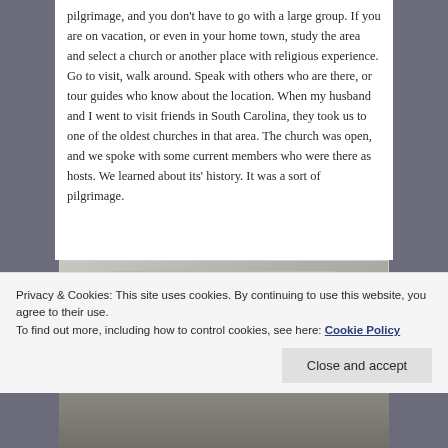pilgrimage, and you don't have to go with a large group.  If you are on vacation, or even in your home town, study the area and select a church or another place with religious experience.  Go to visit, walk around.  Speak with others who are there, or tour guides who know about the location.  When my husband and I went to visit friends in South Carolina, they took us to one of the oldest churches in that area.  The church was open, and we spoke with some current members who were there as hosts.  We learned about its' history.  It was a sort of pilgrimage.
[Figure (photo): Close-up photograph of a stone carving or relief, showing curved decorative motifs carved into stone, with a grayish tone.]
Privacy & Cookies: This site uses cookies. By continuing to use this website, you agree to their use.
To find out more, including how to control cookies, see here: Cookie Policy